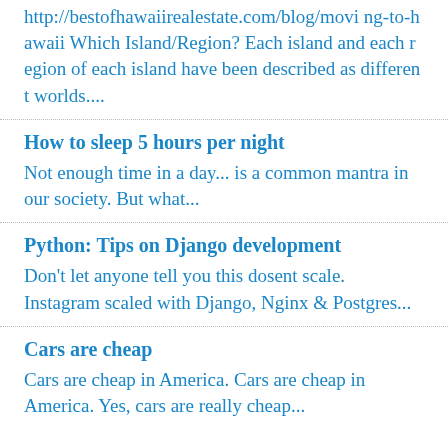http://bestofhawaiirealestate.com/blog/moving-to-hawaii Which Island/Region? Each island and each region of each island have been described as different worlds....
How to sleep 5 hours per night
Not enough time in a day... is a common mantra in our society. But what...
Python: Tips on Django development
Don't let anyone tell you this dosent scale. Instagram scaled with Django, Nginx & Postgres...
Cars are cheap
Cars are cheap in America. Cars are cheap in America. Yes, cars are really cheap...